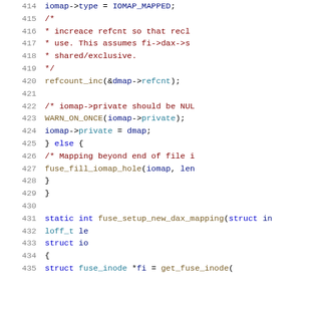Source code listing, lines 414-435, C kernel code for fuse DAX mapping